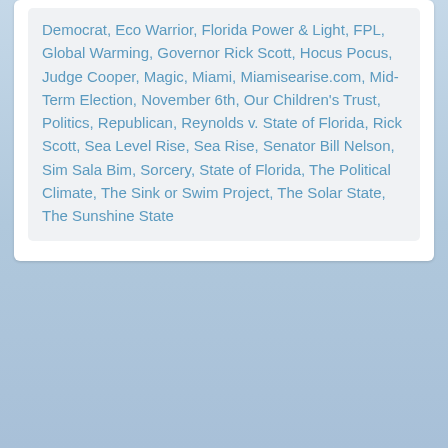Democrat, Eco Warrior, Florida Power & Light, FPL, Global Warming, Governor Rick Scott, Hocus Pocus, Judge Cooper, Magic, Miami, Miamisearise.com, Mid-Term Election, November 6th, Our Children's Trust, Politics, Republican, Reynolds v. State of Florida, Rick Scott, Sea Level Rise, Sea Rise, Senator Bill Nelson, Sim Sala Bim, Sorcery, State of Florida, The Political Climate, The Sink or Swim Project, The Solar State, The Sunshine State
Why I'm Suing the State of Florida & Governor Rick Scott
April 16, 2018   DReynolds
On Monday April 16th I sued Florida Governor Rick Scott and the State of Florida (click here to